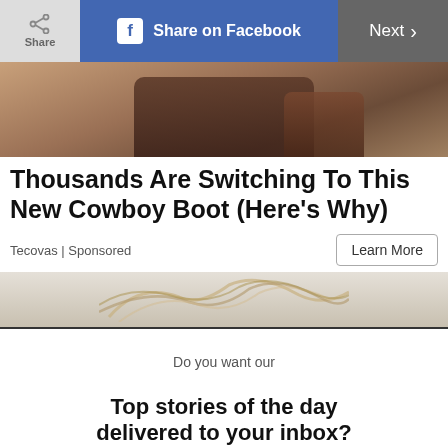[Figure (screenshot): Navigation bar with Share button, Share on Facebook button, and Next button]
[Figure (photo): Photo showing cowboy boots on a floor, cropped view]
Thousands Are Switching To This New Cowboy Boot (Here's Why)
Tecovas | Sponsored
[Figure (photo): Partial photo showing a person's hair/head]
Do you want our
Top stories of the day delivered to your inbox?
YES PLEASE!
NO THANKS